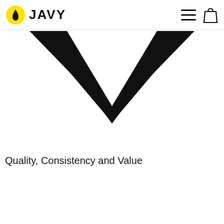JAVY
[Figure (logo): Large black downward chevron/checkmark logo centered below the header navigation bar]
Quality, Consistency and Value